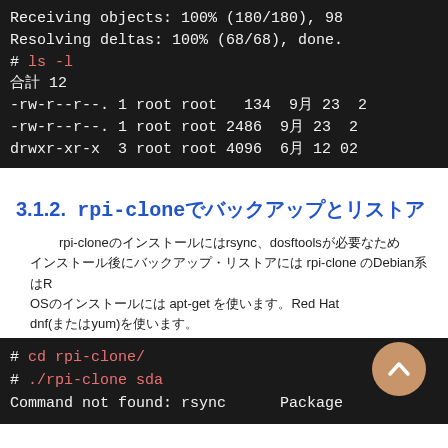[Figure (screenshot): Terminal output showing git clone receiving and resolving objects, then ls -l output with file listings (permissions, owner, size, date columns)]
3.1.2.  rpi-clone（バックアップとリストア）
rpi-cloneのインストールにはrsync、dosftoolsが必要なためバックアップ・リストアにはrpi-cloneを使います。Debianは RPi OSのインストールには apt-get を使います。Red Hat系の場合は dnf(またはyum)を使います。
[Figure (screenshot): Terminal showing: # cd rpi-clone/ then # ./rpi-clone sda then Command not found: rsync   Package...]